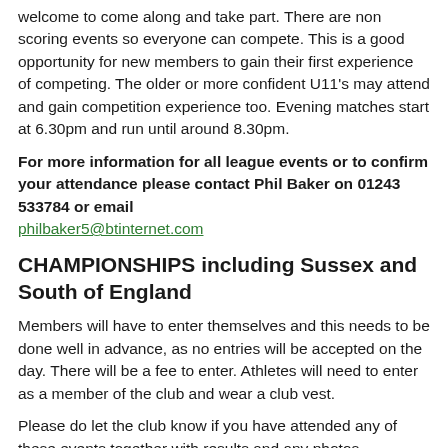welcome to come along and take part. There are non scoring events so everyone can compete. This is a good opportunity for new members to gain their first experience of competing. The older or more confident U11's may attend and gain competition experience too. Evening matches start at 6.30pm and run until around 8.30pm.
For more information for all league events or to confirm your attendance please contact Phil Baker on 01243 533784 or email philbaker5@btinternet.com
CHAMPIONSHIPS including Sussex and South of England
Members will have to enter themselves and this needs to be done well in advance, as no entries will be accepted on the day. There will be a fee to enter. Athletes will need to enter as a member of the club and wear a club vest.
Please do let the club know if you have attended any of these events together with results and any photos